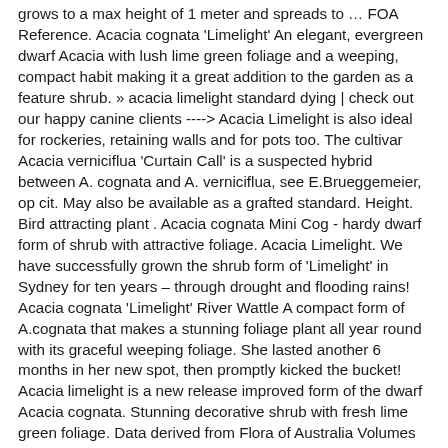grows to a max height of 1 meter and spreads to … FOA Reference. Acacia cognata 'Limelight' An elegant, evergreen dwarf Acacia with lush lime green foliage and a weeping, compact habit making it a great addition to the garden as a feature shrub. » acacia limelight standard dying | check out our happy canine clients ----> Acacia Limelight is also ideal for rockeries, retaining walls and for pots too. The cultivar Acacia verniciflua 'Curtain Call' is a suspected hybrid between A. cognata and A. verniciflua, see E.Brueggemeier, op cit. May also be available as a grafted standard. Height. Bird attracting plant . Acacia cognata Mini Cog - hardy dwarf form of shrub with attractive foliage. Acacia Limelight. We have successfully grown the shrub form of 'Limelight' in Sydney for ten years – through drought and flooding rains! Acacia cognata 'Limelight' River Wattle A compact form of A.cognata that makes a stunning foliage plant all year round with its graceful weeping foliage. She lasted another 6 months in her new spot, then promptly kicked the bucket! Acacia limelight is a new release improved form of the dwarf Acacia cognata. Stunning decorative shrub with fresh lime green foliage. Data derived from Flora of Australia Volumes 11A (2001), 11B (2001) and 12 (1998), products of ABRS, ©Commonwealth of Australia. This Acacia produces an abundance of soft yellow flowers during late winter and spring that have the appearance of soft yellow snowflakes. The PMA Support Centre offers personalised support for our breeders, growers, partner agents, media contacts and garden centre retailers. Drought tolerant. Highly recommended by the staff of … If you ever lose the top off a standard … www.facebook.com/growmasterheathertonvic Standard Acacias now in stock. Not suited to heavy clay soils. The leaves are fine and pendulous in a fresh lime…